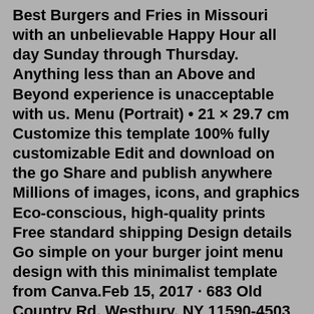Best Burgers and Fries in Missouri with an unbelievable Happy Hour all day Sunday through Thursday. Anything less than an Above and Beyond experience is unacceptable with us. Menu (Portrait) • 21 × 29.7 cm Customize this template 100% fully customizable Edit and download on the go Share and publish anywhere Millions of images, icons, and graphics Eco-conscious, high-quality prints Free standard shipping Design details Go simple on your burger joint menu design with this minimalist template from Canva.Feb 15, 2017 · 683 Old Country Rd, Westbury, NY 11590-4503 +1 516-333-6059 Website MenuOpen now : 11:00 AM - 10:00 PM. New Hours. Mon: Closed Tues – Fri: 4pm to 9pm Sat: 12pm to 9pm Sun: 12pm to 8pm. For reservations please call 949-429-6666 New Hours. Mon: Closed Tues – Fri: 4pm to 9pm Sat: 12pm to 9pm Sun: 12pm to 8pm. For reservations please call 949-429-6666 Black Burger (Canal St) 386 Canal St. •. (212) 431-7651. 729 ratings. 87 Food was good. 84 Delivery was